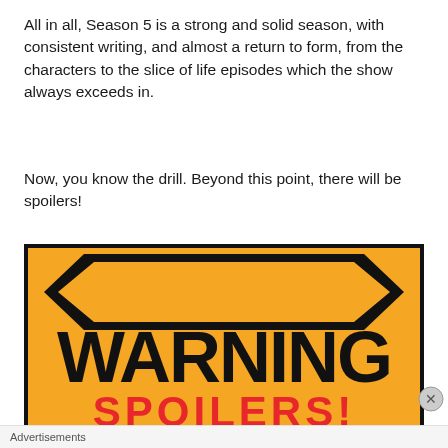All in all, Season 5 is a strong and solid season, with consistent writing, and almost a return to form, from the characters to the slice of life episodes which the show always exceeds in.
Now, you know the drill. Beyond this point, there will be spoilers!
[Figure (illustration): Warning sign image with orange background and black text reading WARNING, with SPOILERS! in red text at the bottom]
Advertisements